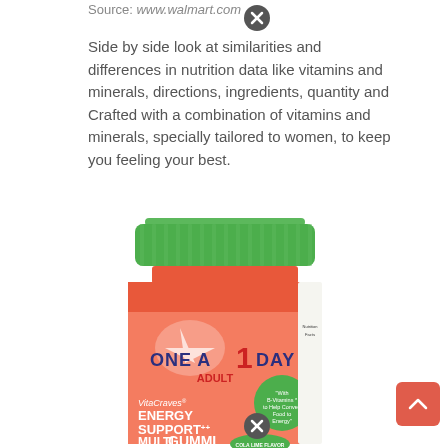Source: www.walmart.com
Side by side look at similarities and differences in nutrition data like vitamins and minerals, directions, ingredients, quantity and Crafted with a combination of vitamins and minerals, specially tailored to women, to keep you feeling your best.
[Figure (photo): One A Day Adult VitaCraves Energy Support++ Multi Gummy vitamins bottle with green cap and orange/red body, featuring the One A Day logo and text about B-Vitamins to help convert food to energy. Cola Lime Flavor label visible.]